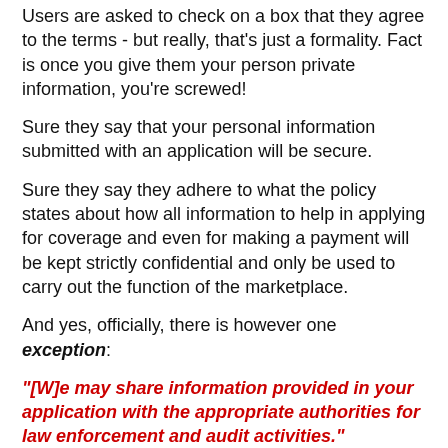Users are asked to check on a box that they agree to the terms - but really, that's just a formality. Fact is once you give them your person private information, you're screwed!
Sure they say that your personal information submitted with an application will be secure.
Sure they say they adhere to what the policy states about how all information to help in applying for coverage and even for making a payment will be kept strictly confidential and only be used to carry out the function of the marketplace.
And yes, officially, there is however one exception:
"[W]e may share information provided in your application with the appropriate authorities for law enforcement and audit activities."
Here is the entire paragraph from the policy the includes the exception [emphasis added]:
1) Should you decide to apply for health coverage through